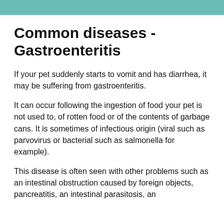Common diseases - Gastroenteritis
If your pet suddenly starts to vomit and has diarrhea, it may be suffering from gastroenteritis.
It can occur following the ingestion of food your pet is not used to, of rotten food or of the contents of garbage cans. It is sometimes of infectious origin (viral such as parvovirus or bacterial such as salmonella for example).
This disease is often seen with other problems such as an intestinal obstruction caused by foreign objects, pancreatitis, an intestinal parasitosis, an